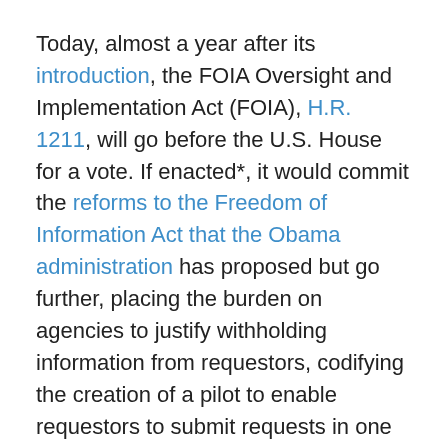Today, almost a year after its introduction, the FOIA Oversight and Implementation Act (FOIA), H.R. 1211, will go before the U.S. House for a vote. If enacted*, it would commit the reforms to the Freedom of Information Act that the Obama administration has proposed but go further, placing the burden on agencies to justify withholding information from requestors, codifying the creation of a pilot to enable requestors to submit requests in one place, creating a FOIA Council, and directing federal agencies to automatically publish records responsive to requests online.
While these actions were proposed by the administration in its National Open Government Action Plan, Congressional action would make them permanent.
If it passed both houses of Congress and is signed into